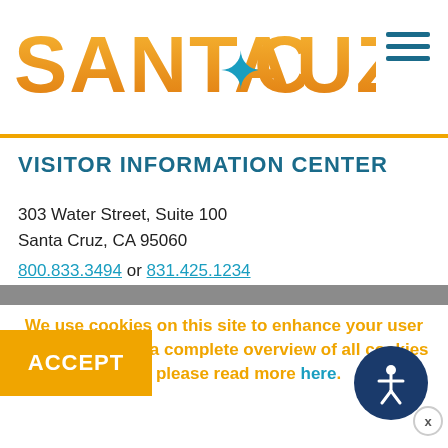[Figure (logo): Santa Cruz tourism logo with orange gradient text and teal star icon, plus teal hamburger menu icon top right]
VISITOR INFORMATION CENTER
303 Water Street, Suite 100
Santa Cruz, CA 95060
800.833.3494 or 831.425.1234
We use cookies on this site to enhance your user experience. For a complete overview of all cookies used, please read more here.
ACCEPT